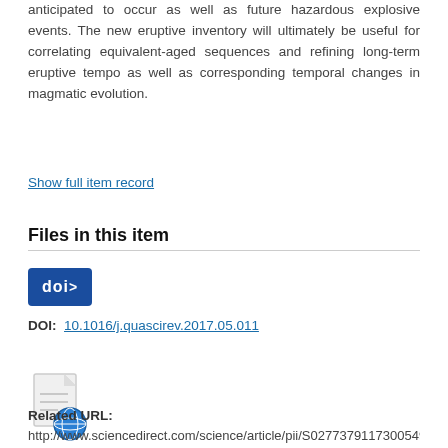anticipated to occur as well as future hazardous explosive events. The new eruptive inventory will ultimately be useful for correlating equivalent-aged sequences and refining long-term eruptive tempo as well as corresponding temporal changes in magmatic evolution.
Show full item record
Files in this item
[Figure (logo): Blue DOI badge icon with text 'doi>']
DOI:  10.1016/j.quascirev.2017.05.011
[Figure (illustration): File icon with globe/world symbol overlay]
Related URL:
http://www.sciencedirect.com/science/article/pii/S0277379117300549